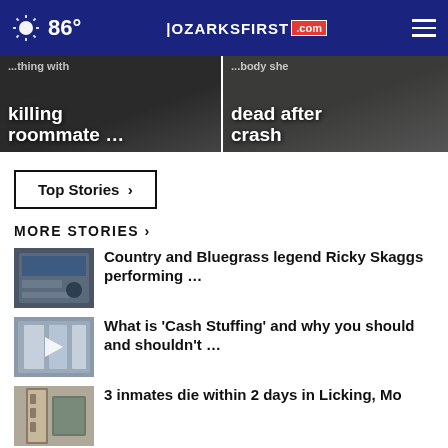86° OZARKSFIRST.com
[Figure (screenshot): Two dark hero news image panels side by side. Left panel shows text overlay: '...killing roommate ...'. Right panel shows text overlay: '...dead after crash'.]
Top Stories ›
MORE STORIES ›
[Figure (photo): Thumbnail image for Country and Bluegrass legend Ricky Skaggs story]
Country and Bluegrass legend Ricky Skaggs performing …
[Figure (photo): Thumbnail image with play icon for Cash Stuffing story]
What is 'Cash Stuffing' and why you should and shouldn't …
[Figure (photo): Thumbnail image for 3 inmates die story]
3 inmates die within 2 days in Licking, Mo